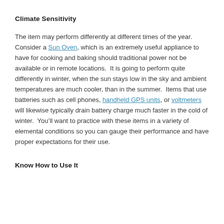Climate Sensitivity
The item may perform differently at different times of the year.  Consider a Sun Oven, which is an extremely useful appliance to have for cooking and baking should traditional power not be available or in remote locations.  It is going to perform quite differently in winter, when the sun stays low in the sky and ambient temperatures are much cooler, than in the summer.  Items that use batteries such as cell phones, handheld GPS units, or voltmeters will likewise typically drain battery charge much faster in the cold of winter.  You’ll want to practice with these items in a variety of elemental conditions so you can gauge their performance and have proper expectations for their use.
Know How to Use It